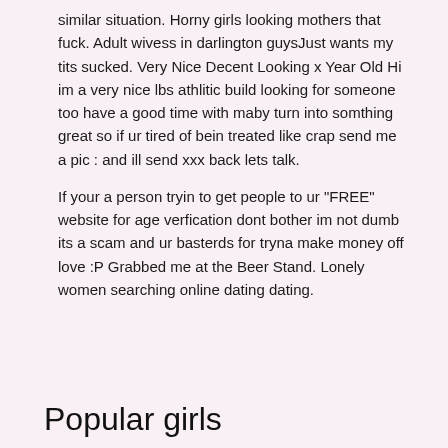similar situation. Horny girls looking mothers that fuck. Adult wivess in darlington guysJust wants my tits sucked. Very Nice Decent Looking x Year Old Hi im a very nice lbs athlitic build looking for someone too have a good time with maby turn into somthing great so if ur tired of bein treated like crap send me a pic : and ill send xxx back lets talk.
If your a person tryin to get people to ur "FREE" website for age verfication dont bother im not dumb its a scam and ur basterds for tryna make money off love :P Grabbed me at the Beer Stand. Lonely women searching online dating dating.
Popular girls